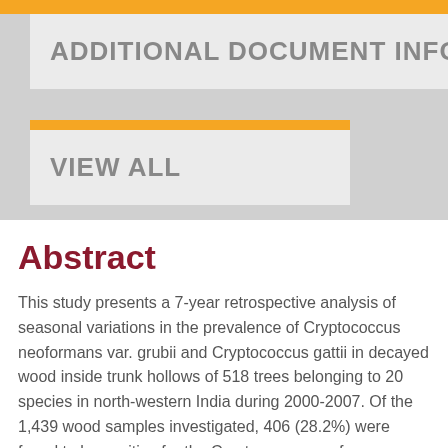ADDITIONAL DOCUMENT INFO
VIEW ALL
Abstract
This study presents a 7-year retrospective analysis of seasonal variations in the prevalence of Cryptococcus neoformans var. grubii and Cryptococcus gattii in decayed wood inside trunk hollows of 518 trees belonging to 20 species in north-western India during 2000-2007. Of the 1,439 wood samples investigated, 406 (28.2%) were found to be positive for the Cryptococcus neoformans species complex which included 247 samples from which C. neoformans var. grubii was